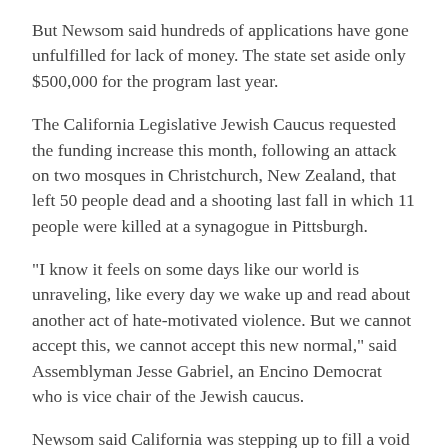But Newsom said hundreds of applications have gone unfulfilled for lack of money. The state set aside only $500,000 for the program last year.
The California Legislative Jewish Caucus requested the funding increase this month, following an attack on two mosques in Christchurch, New Zealand, that left 50 people dead and a shooting last fall in which 11 people were killed at a synagogue in Pittsburgh.
"I know it feels on some days like our world is unraveling, like every day we wake up and read about another act of hate-motivated violence. But we cannot accept this, we cannot accept this new normal," said Assemblyman Jesse Gabriel, an Encino Democrat who is vice chair of the Jewish caucus.
Newsom said California was stepping up to fill a void left by the Trump administration, which has pulled back on federal efforts to counter domestic terrorism. Anti-Semitism is on the rise, and the...